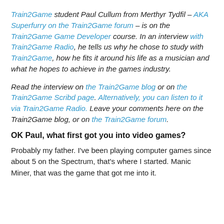Train2Game student Paul Cullum from Merthyr Tydfil – AKA Superfurry on the Train2Game forum – is on the Train2Game Game Developer course. In an interview with Train2Game Radio, he tells us why he chose to study with Train2Game, how he fits it around his life as a musician and what he hopes to achieve in the games industry.
Read the interview on the Train2Game blog or on the Train2Game Scribd page. Alternatively, you can listen to it via Train2Game Radio. Leave your comments here on the Train2Game blog, or on the Train2Game forum.
OK Paul, what first got you into video games?
Probably my father. I've been playing computer games since about 5 on the Spectrum, that's where I started. Manic Miner, that was the game that got me into it.